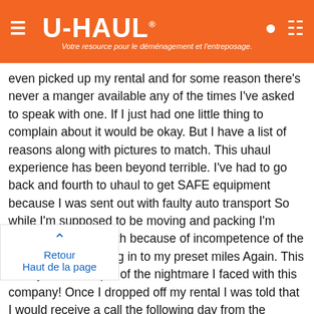U-HAUL — Votre resource pour le déménagement et l'entreposage.
even picked up my rental and for some reason there's never a manger available any of the times I've asked to speak with one. If I just had one little thing to complain about it would be okay. But I have a list of reasons along with pictures to match. This uhaul experience has been beyond terrible. I've had to go back and fourth to uhaul to get SAFE equipment because I was sent out with faulty auto transport So while I'm supposed to be moving and packing I'm going back and fourth because of incompetence of the staff. Which is cutting in to my preset miles Again. This is only one example of the nightmare I faced with this company! Once I dropped off my rental I was told that I would receive a call the following day from the manager to address my concerns which is Monday 8-2-22 I have yet to receive a call from anyone And now because of this company I've lost money and time I'll e way this company treats people is beyond d be great to have this resolved. I've rented with es. And this has by far been the worst. I WILL NEVER RENT FROM HERE AGAIN..OVER THREE THOUSAND